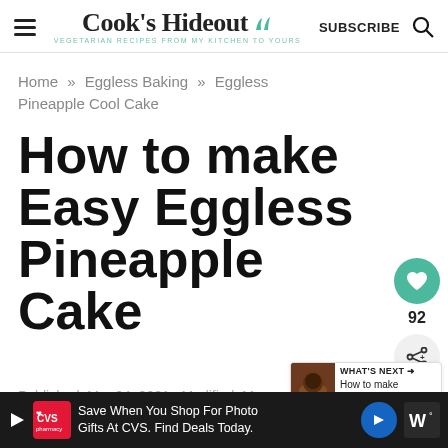Cook's Hideout — VEGETARIAN RECIPES FROM MY KITCHEN TO YOURS
Home » Eggless Baking » Eggless Pineapple Cool Cake
How to make Easy Eggless Pineapple Cake
Published: Mar 24, 2021 · Modified: Mar 24, 2021 by Pavani · 17 Comments
[Figure (screenshot): CVS pharmacy ad banner at bottom: Save When You Shop For Photo Gifts At CVS. Find Deals Today.]